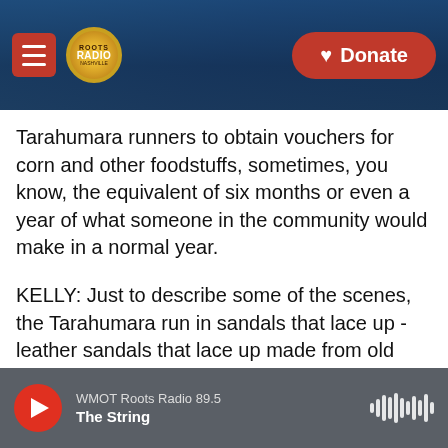[Figure (screenshot): Website header with hamburger menu icon (red square), Roots Radio circular logo (gold), and a red Donate button with heart icon on the right, over a dark blue guitar background.]
Tarahumara runners to obtain vouchers for corn and other foodstuffs, sometimes, you know, the equivalent of six months or even a year of what someone in the community would make in a normal year.
KELLY: Just to describe some of the scenes, the Tarahumara run in sandals that lace up - leather sandals that lace up made from old tires. And there's a great scene where you show Silvino, who's one of the - maybe the most famous Tarahumara runner, this great champion. And he's watching footage of McDougall, the author of the book, and
[Figure (screenshot): Audio player bar at the bottom showing a red circular play button, station name 'WMOT Roots Radio 89.5', show title 'The String', and a sound wave icon on the right, all on a grey background.]